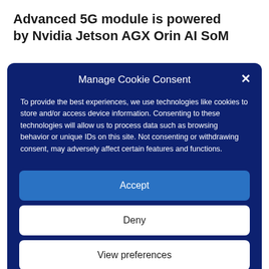Advanced 5G module is powered by Nvidia Jetson AGX Orin AI SoM
Manage Cookie Consent
To provide the best experiences, we use technologies like cookies to store and/or access device information. Consenting to these technologies will allow us to process data such as browsing behavior or unique IDs on this site. Not consenting or withdrawing consent, may adversely affect certain features and functions.
Accept
Deny
View preferences
Privacy Statement